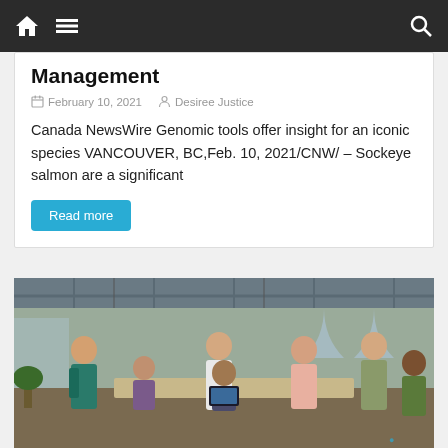Navigation bar with home, menu, and search icons
Management
February 10, 2021   Desiree Justice
Canada NewsWire Genomic tools offer insight for an iconic species VANCOUVER, BC,Feb. 10, 2021/CNW/ – Sockeye salmon are a significant
Read more
[Figure (photo): Group of diverse office workers gathered around a table looking at a tablet in a modern industrial-style workspace]